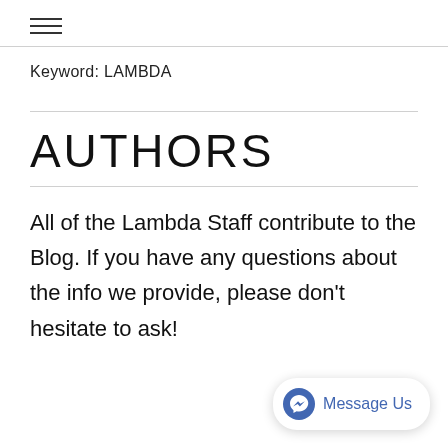≡
Keyword: LAMBDA
AUTHORS
All of the Lambda Staff contribute to the Blog. If you have any questions about the info we provide, please don't hesitate to ask!